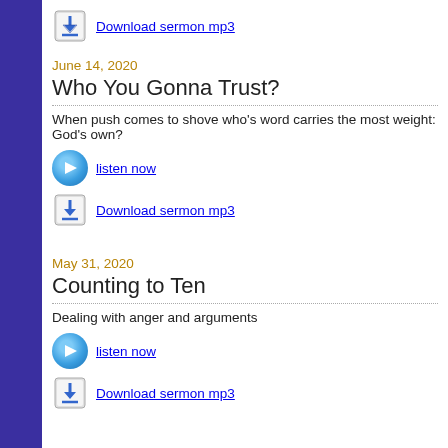[Figure (illustration): Download icon button]
Download sermon mp3
June 14, 2020
Who You Gonna Trust?
When push comes to shove who's word carries the most weight: God's own?
[Figure (illustration): Listen now speaker icon button]
listen now
[Figure (illustration): Download icon button]
Download sermon mp3
May 31, 2020
Counting to Ten
Dealing with anger and arguments
[Figure (illustration): Listen now speaker icon button]
listen now
[Figure (illustration): Download icon button]
Download sermon mp3